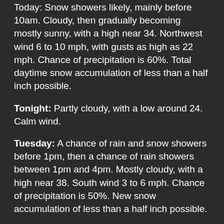Today: Snow showers likely, mainly before 10am. Cloudy, then gradually becoming mostly sunny, with a high near 34. Northwest wind 6 to 10 mph, with gusts as high as 22 mph. Chance of precipitation is 60%. Total daytime snow accumulation of less than a half inch possible.
Tonight: Partly cloudy, with a low around 24. Calm wind.
Tuesday: A chance of rain and snow showers before 1pm, then a chance of rain showers between 1pm and 4pm. Mostly cloudy, with a high near 38. South wind 3 to 6 mph. Chance of precipitation is 50%. New snow accumulation of less than a half inch possible.
Tuesday Night: A slight chance of snow showers before 1am. Mostly cloudy, with a low around 30. Southwest wind around 9 mph. Chance of precipitation is 20%.
Wednesday: Partly sunny, with a high near 41. Northwest wind...